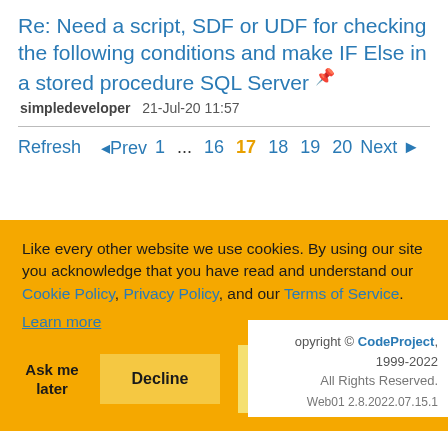Re: Need a script, SDF or UDF for checking the following conditions and make IF Else in a stored procedure SQL Server
simpledeveloper   21-Jul-20 11:57
Refresh   ◁Prev  1  ...  16  17  18  19  20  Next ▷
Like every other website we use cookies. By using our site you acknowledge that you have read and understand our Cookie Policy, Privacy Policy, and our Terms of Service. Learn more
Ask me later   Decline   Allow cookies
opyright © CodeProject, 1999-2022 All Rights Reserved. Web01 2.8.2022.07.15.1